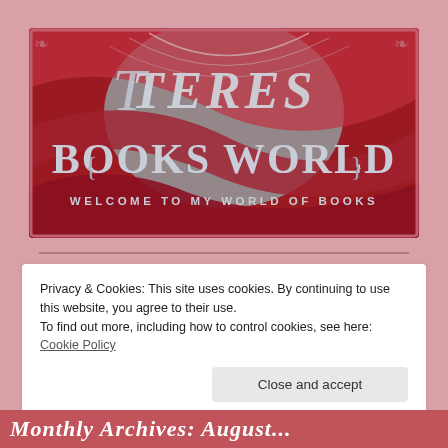[Figure (logo): Teres Books World banner logo with decorative red and teal background, large stylized text reading 'Teres Books World - Welcome to My World of Books']
Privacy & Cookies: This site uses cookies. By continuing to use this website, you agree to their use.
To find out more, including how to control cookies, see here: Cookie Policy
Close and accept
Monthly Archives: August...